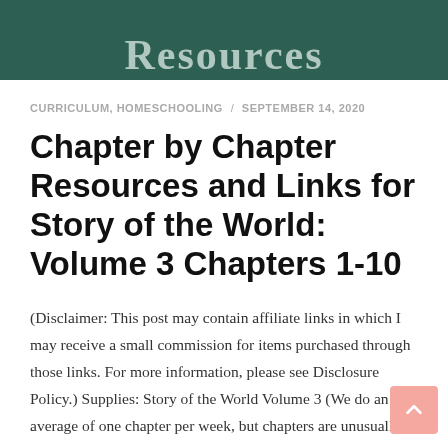Resources
CURRICULUM, HOMESCHOOLING / SEPTEMBER 14, 2020
Chapter by Chapter Resources and Links for Story of the World: Volume 3 Chapters 1-10
(Disclaimer: This post may contain affiliate links in which I may receive a small commission for items purchased through those links. For more information, please see Disclosure Policy.) Supplies: Story of the World Volume 3 (We do an average of one chapter per week, but chapters are unusually short [...]